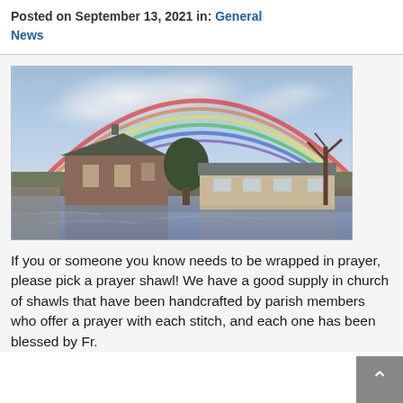Posted on September 13, 2021 in: General News
[Figure (photo): A full rainbow arching over a flooded church and parish buildings surrounded by flood water, with trees and a cloudy sky]
If you or someone you know needs to be wrapped in prayer, please pick a prayer shawl! We have a good supply in church of shawls that have been handcrafted by parish members who offer a prayer with each stitch, and each one has been blessed by Fr.